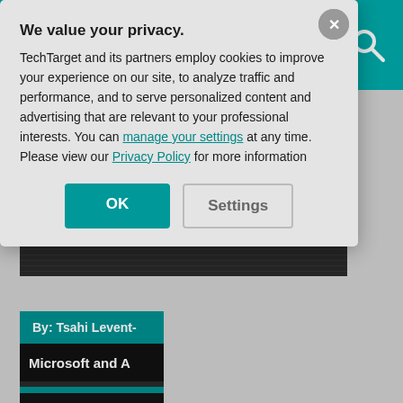SearchUnifiedCommunications
By: Mary Shacklett
WebRTC standard designation highlights technology's evolution
By: Tsahi Levent-
Microsoft and A
By: Tsahi Levent-
Large group W
We value your privacy.
TechTarget and its partners employ cookies to improve your experience on our site, to analyze traffic and performance, and to serve personalized content and advertising that are relevant to your professional interests. You can manage your settings at any time. Please view our Privacy Policy for more information